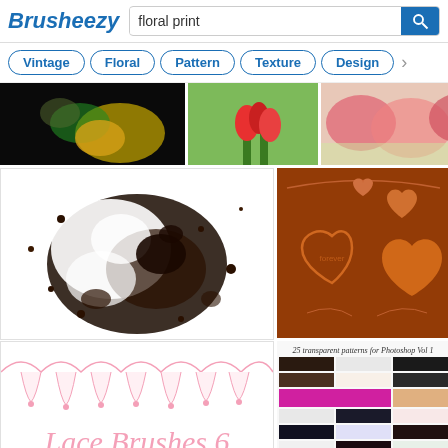Brusheezy — floral print search page
Vintage, Floral, Pattern, Texture, Design filter tags
[Figure (screenshot): Brusheezy website search results for 'floral print' showing thumbnail grid of design resources including floral brushes, lace brushes, heart textures, and pattern sets]
25 transparent patterns for Photoshop Vol 1 — Whimsical Artwork